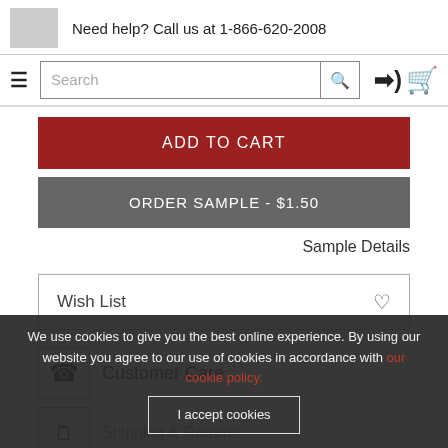Need help? Call us at 1-866-620-2008
[Figure (screenshot): Navigation bar with hamburger menu, search bar with search icon, login icon, and cart icon]
ADD TO CART
ORDER SAMPLE - $1.50
Sample Details
Wish List
Customer Care
Shipping & Returns
Fabric Care
We use cookies to give you the best online experience. By using our website you agree to our use of cookies in accordance with our cookie policy.
I accept cookies